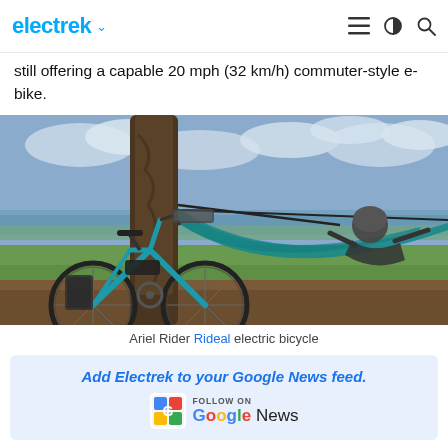electrek
still offering a capable 20 mph (32 km/h) commuter-style e-bike.
[Figure (photo): Person relaxing in a teal hammock tied to a large tree in a park, with a teal Ariel Rider Rideal electric bicycle leaning against the same tree. Green grass and water visible in the background under a cloudy sky.]
Ariel Rider Rideal electric bicycle
Add Electrek to your Google News feed.